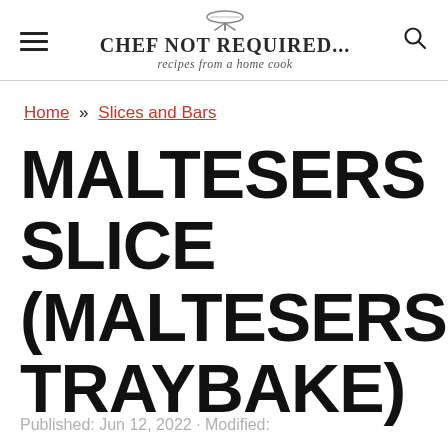CHEF NOT REQUIRED... recipes from a home cook
Home » Slices and Bars
MALTESERS SLICE (MALTESERS TRAYBAKE)
Published: Jun 12, 2022 · Modified: